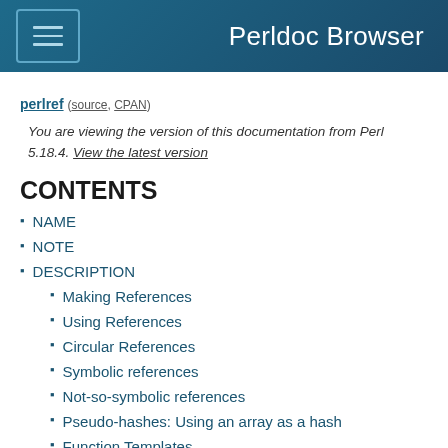Perldoc Browser
perlref (source, CPAN)
You are viewing the version of this documentation from Perl 5.18.4. View the latest version
CONTENTS
NAME
NOTE
DESCRIPTION
Making References
Using References
Circular References
Symbolic references
Not-so-symbolic references
Pseudo-hashes: Using an array as a hash
Function Templates
WARNING